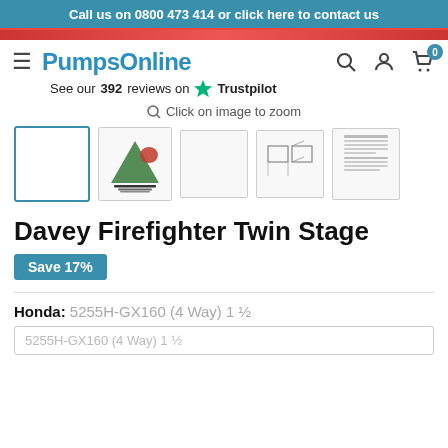Call us on 0800 473 414 or click here to contact us
[Figure (logo): PumpsOnline logo with hamburger menu icon]
See our 392 reviews on Trustpilot
Click on image to zoom
[Figure (screenshot): Product thumbnail images: blank selected, Firefighter brochure, dimension diagrams, spec sheet]
Davey Firefighter Twin Stage
Save 17%
Honda: 5255H-GX160 (4 Way) 1 ½
5255H-GX160 (4 Way) 1 ½